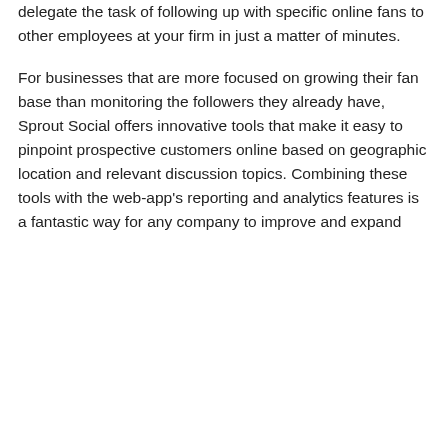delegate the task of following up with specific online fans to other employees at your firm in just a matter of minutes.
For businesses that are more focused on growing their fan base than monitoring the followers they already have, Sprout Social offers innovative tools that make it easy to pinpoint prospective customers online based on geographic location and relevant discussion topics. Combining these tools with the web-app's reporting and analytics features is a fantastic way for any company to improve and expand